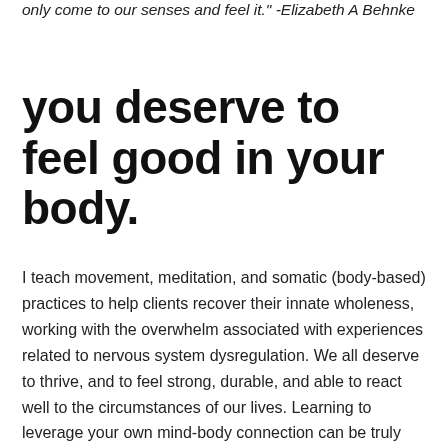only come to our senses and feel it." -Elizabeth A Behnke
you deserve to feel good in your body.
I teach movement, meditation, and somatic (body-based) practices to help clients recover their innate wholeness, working with the overwhelm associated with experiences related to nervous system dysregulation. We all deserve to thrive, and to feel strong, durable, and able to react well to the circumstances of our lives. Learning to leverage your own mind-body connection can be truly transformational.